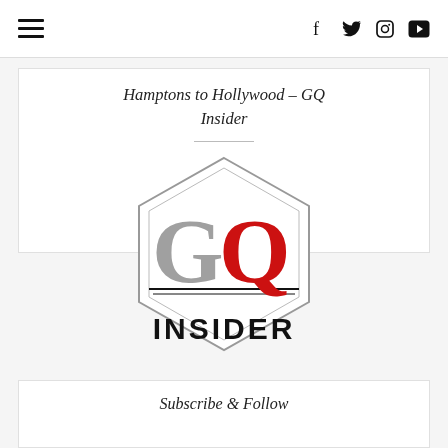≡  f  t  ⊙  ▶
Hamptons to Hollywood – GQ Insider
[Figure (logo): GQ Insider logo inside a hexagon shape. Large letters 'G' in gray and 'Q' in red on top, with the word 'INSIDER' in bold black sans-serif beneath a horizontal line.]
Subscribe & Follow